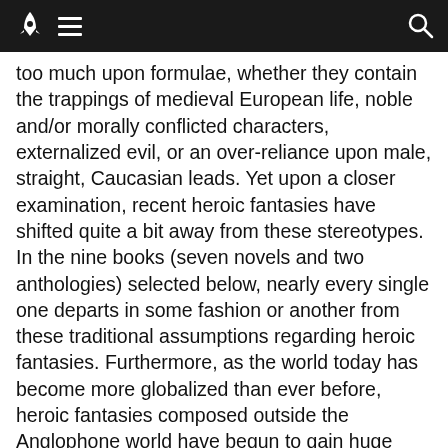Navigation bar with rocket logo, hamburger menu, and search icon
too much upon formulae, whether they contain the trappings of medieval European life, noble and/or morally conflicted characters, externalized evil, or an over-reliance upon male, straight, Caucasian leads. Yet upon a closer examination, recent heroic fantasies have shifted quite a bit away from these stereotypes. In the nine books (seven novels and two anthologies) selected below, nearly every single one departs in some fashion or another from these traditional assumptions regarding heroic fantasies. Furthermore, as the world today has become more globalized than ever before, heroic fantasies composed outside the Anglophone world have begun to gain huge audiences, with some now beginning to appear in English translation. These authors have introduced new elements into the heroic fantasy formulae, creating a wealth of possibilities for not just non-English writers but also for English-language heroic